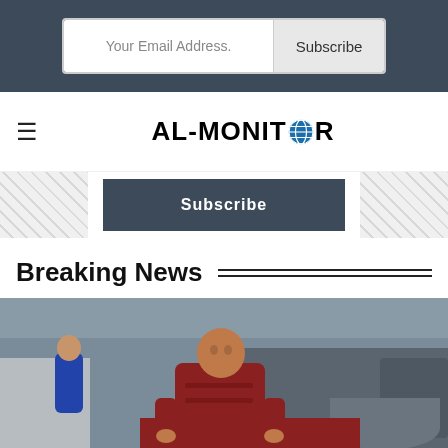Your Email Address. | Subscribe
AL-MONITOR
Subscribe
Breaking News
[Figure (photo): Two young boys near a water container and truck. The boy in the foreground wears a red shirt and is looking at the camera.]